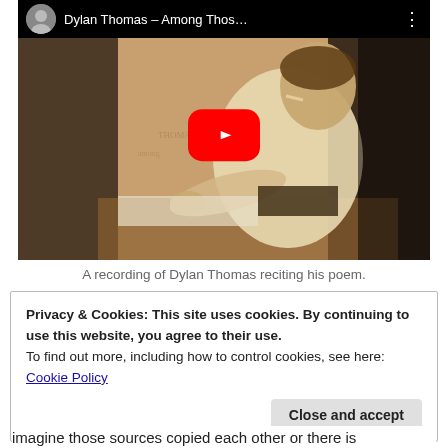[Figure (screenshot): YouTube video thumbnail showing Dylan Thomas – Among Thos... with a sepia photo of a man writing at a desk, red play button overlay, and channel avatar in the top bar.]
A recording of Dylan Thomas reciting his poem.
Privacy & Cookies: This site uses cookies. By continuing to use this website, you agree to their use.
To find out more, including how to control cookies, see here: Cookie Policy
Close and accept
imagine those sources copied each other or there is